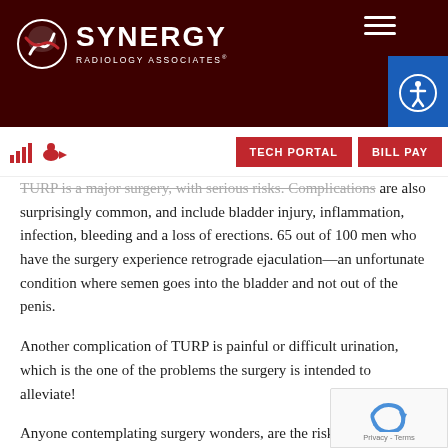SYNERGY RADIOLOGY ASSOCIATES
TURP is a major surgery, with serious risks. Complications are also surprisingly common, and include bladder injury, inflammation, infection, bleeding and a loss of erections. 65 out of 100 men who have the surgery experience retrograde ejaculation—an unfortunate condition where semen goes into the bladder and not out of the penis.
Another complication of TURP is painful or difficult urination, which is the one of the problems the surgery is intended to alleviate!
Anyone contemplating surgery wonders, are the risks complications worth it? While most men who have thi